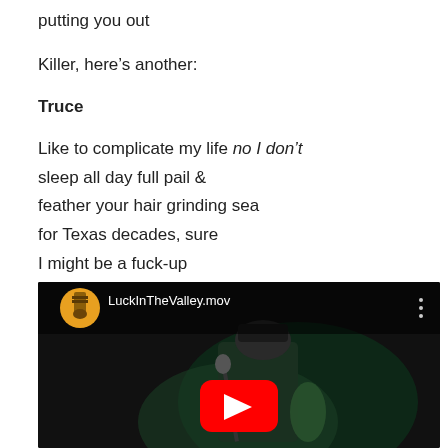putting you out
Killer, here’s another:
Truce
Like to complicate my life no I don’t
sleep all day full pail &
feather your hair grinding sea
for Texas decades, sure
I might be a fuck-up
awesome fuck-up
[Figure (screenshot): YouTube video thumbnail showing a musician on stage with a microphone, dark background, with YouTube play button overlay. Channel name LuckInTheValley.mov shown at top.]